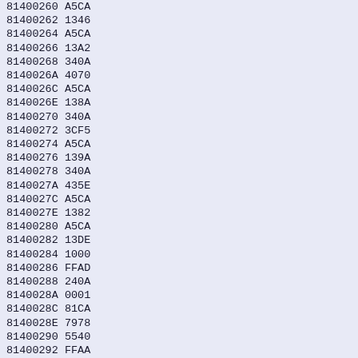81400260 A5CA
81400262 1346
81400264 A5CA
81400266 13A2
81400268 340A
8140026A 4070
8140026C A5CA
8140026E 138A
81400270 340A
81400272 3CF5
81400274 A5CA
81400276 139A
81400278 340A
8140027A 435E
8140027C A5CA
8140027E 1382
81400280 A5CA
81400282 13DE
81400284 1000
81400286 FFAD
81400288 240A
8140028A 0001
8140028C 81CA
8140028E 7978
81400290 5540
81400292 FFAA
81400294 240A
81400296 0002
81400298 1000
8140029A FFC8
8140029C 340A